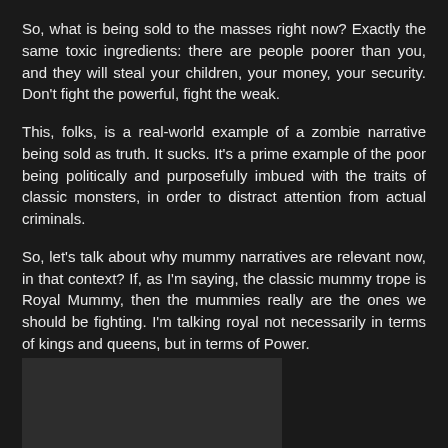So, what is being sold to the masses right now? Exactly the same toxic ingredients: there are people poorer than you, and they will steal your children, your money, your security. Don't fight the powerful, fight the weak.
This, folks, is a real-world example of a zombie narrative being sold as truth. It sucks. It's a prime example of the poor being politically and purposefully imbued with the traits of classic monsters, in order to distract attention from actual criminals.
So, let's talk about why mummy narratives are relevant now, in that context? If, as I'm saying, the classic mummy trope is Royal Mummy, then the mummies really are the ones we should be fighting. I'm talking royal not necessarily in terms of kings and queens, but in terms of Power.
[Figure (photo): Dark rectangular image placeholder at the bottom left of the page]